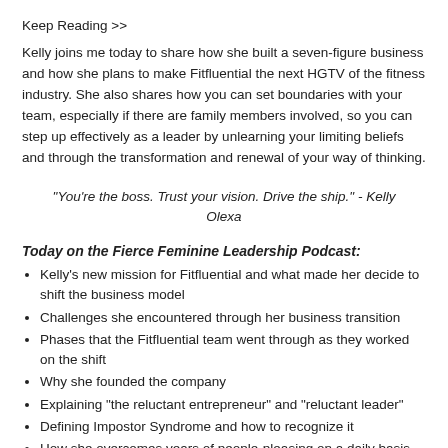Keep Reading >>
Kelly joins me today to share how she built a seven-figure business and how she plans to make Fitfluential the next HGTV of the fitness industry. She also shares how you can set boundaries with your team, especially if there are family members involved, so you can step up effectively as a leader by unlearning your limiting beliefs and through the transformation and renewal of your way of thinking.
“You’re the boss. Trust your vision. Drive the ship.” - Kelly Olexa
Today on the Fierce Feminine Leadership Podcast:
Kelly’s new mission for Fitfluential and what made her decide to shift the business model
Challenges she encountered through her business transition
Phases that the Fitfluential team went through as they worked on the shift
Why she founded the company
Explaining “the reluctant entrepreneur” and “reluctant leader”
Defining Impostor Syndrome and how to recognize it
How she overcomes years of people-pleasing on a daily basis
Effects of her daily positive affirmations on her beliefs